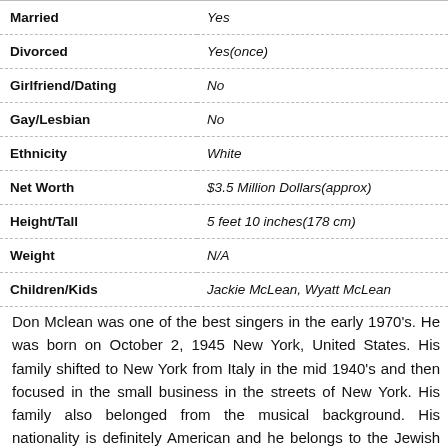| Field | Value |
| --- | --- |
| Married | Yes |
| Divorced | Yes(once) |
| Girlfriend/Dating | No |
| Gay/Lesbian | No |
| Ethnicity | White |
| Net Worth | $3.5 Million Dollars(approx) |
| Height/Tall | 5 feet 10 inches(178 cm) |
| Weight | N/A |
| Children/Kids | Jackie McLean, Wyatt McLean |
Don Mclean was one of the best singers in the early 1970's. He was born on October 2, 1945 New York, United States. His family shifted to New York from Italy in the mid 1940's and then focused in the small business in the streets of New York. His family also belonged from the musical background. His nationality is definitely American and he belongs to the Jewish ethnicity. His father was very fond of